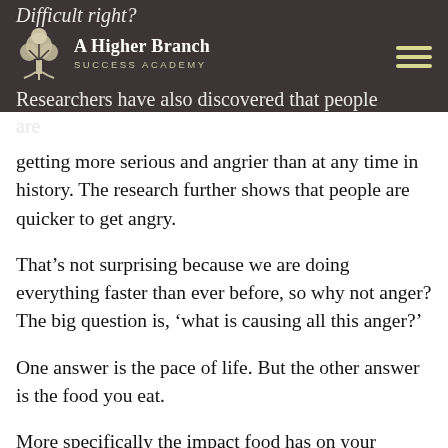Difficult right?
A Higher Branch SUCCESS ACADEMY
Researchers have also discovered that people are
getting more serious and angrier than at any time in history. The research further shows that people are quicker to get angry.
That’s not surprising because we are doing everything faster than ever before, so why not anger? The big question is, ‘what is causing all this anger?’
One answer is the pace of life. But the other answer is the food you eat.
More specifically the impact food has on your ‘feeling’ gut-brain. The following is a list of foods known to make you angry because they cause an inflammatory response in your gut and this, in turn, inflames your